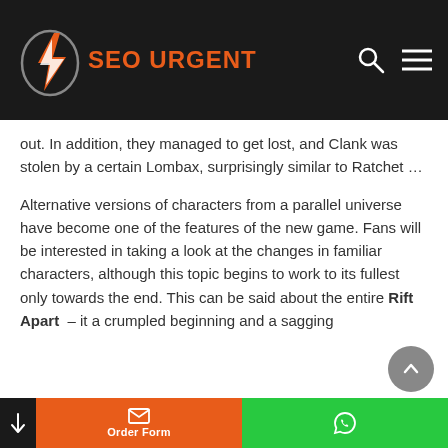SEO URGENT
out. In addition, they managed to get lost, and Clank was stolen by a certain Lombax, surprisingly similar to Ratchet …
Alternative versions of characters from a parallel universe have become one of the features of the new game. Fans will be interested in taking a look at the changes in familiar characters, although this topic begins to work to its fullest only towards the end. This can be said about the entire Rift Apart – it a crumpled beginning and a sagging
Order Form